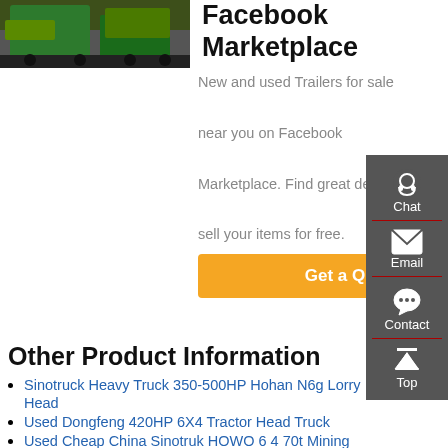[Figure (photo): Photo of a green heavy truck/trailer on display]
Facebook Marketplace
New and used Trailers for sale near you on Facebook Marketplace. Find great deals or sell your items for free.
Get a Quote
Other Product Information
Sinotruck Heavy Truck 350-500HP Hohan N6g Lorry Head
Used Dongfeng 420HP 6X4 Tractor Head Truck
Used Cheap China Sinotruk HOWO 6 4 70t Mining Dump Truck
Mercedes tipper truck ITALY 11 ads of used truck ITALY
8x4 Volvo Tipper Trucks gt 7 5 T for sale
Second hand 4x2 6x4 8x4 Dump Truck Dump Trucks